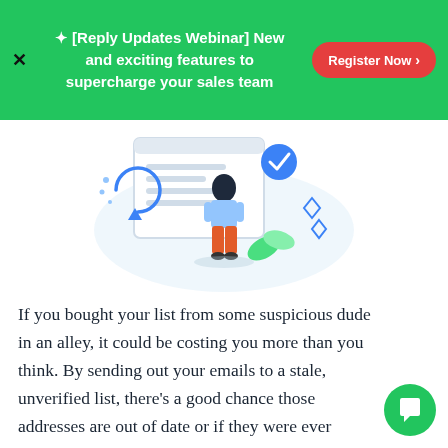✦ [Reply Updates Webinar] New and exciting features to supercharge your sales team
Register Now >
[Figure (illustration): Illustration of a woman standing in front of a browser window with a checkmark, a circular refresh arrow icon, decorative shapes, and green leaves]
If you bought your list from some suspicious dude in an alley, it could be costing you more than you think. By sending out your emails to a stale, unverified list, there's a good chance those addresses are out of date or if they were ever genuine in the first place.